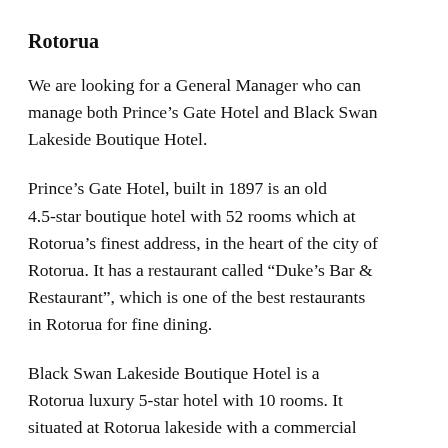Rotorua
We are looking for a General Manager who can manage both Prince’s Gate Hotel and Black Swan Lakeside Boutique Hotel.
Prince’s Gate Hotel, built in 1897 is an old 4.5-star boutique hotel with 52 rooms which at Rotorua’s finest address, in the heart of the city of Rotorua. It has a restaurant called “Duke’s Bar & Restaurant”, which is one of the best restaurants in Rotorua for fine dining.
Black Swan Lakeside Boutique Hotel is a Rotorua luxury 5-star hotel with 10 rooms. It situated at Rotorua lakeside with a commercial kitchen and